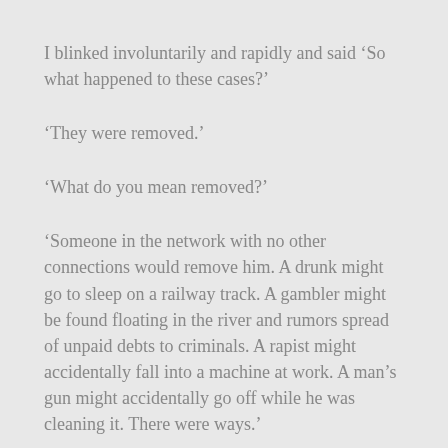I blinked involuntarily and rapidly and said ‘So what happened to these cases?’
‘They were removed.’
‘What do you mean removed?’
‘Someone in the network with no other connections would remove him. A drunk might go to sleep on a railway track. A gambler might be found floating in the river and rumors spread of unpaid debts to criminals. A rapist might accidentally fall into a machine at work. A man’s gun might accidentally go off while he was cleaning it. There were ways.’
I could no longer hide my shock. ‘But Mum, that’s vigilante stuff! What if you got it wrong?’
‘Oh, we were never wrong. If a woman reported a case it would